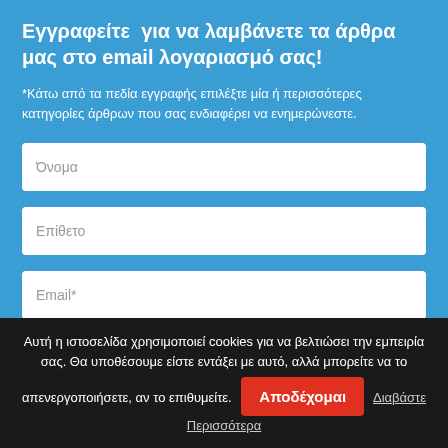Εγγραφείτε  για να λαμβάνετε τα άρθρα μας στο email λογαριασμό σας!
*Κάτω από τα πεδία εγγραφής επιλέξτε μία ή περισσότερες κατηγορίες άρθρων που σας ενδιαφέρει να ενημερώνεστε.
Όνομα
Επίθετο
Email*
Όλες τις Κατηγορίες
Καλλιεργητικές Πρακτικές & Φύση
Αυτή η ιστοσελίδα χρησιμοποιεί cookies για να βελτιώσει την εμπειρία σας. Θα υποθέσουμε είστε εντάξει με αυτό, αλλά μπορείτε να το απενεργοποιήσετε, αν το επιθυμείτε. Αποδέχομαι Διαβάστε Περισσότερα